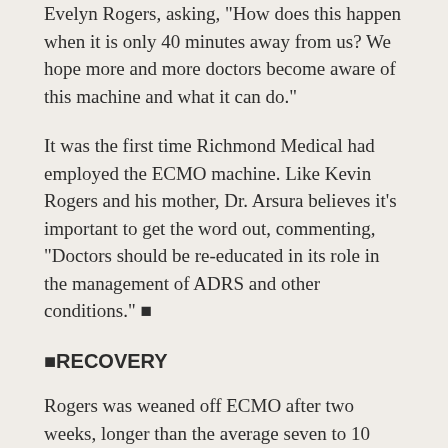Evelyn Rogers, asking, "How does this happen when it is only 40 minutes away from us? We hope more and more doctors become aware of this machine and what it can do."
It was the first time Richmond Medical had employed the ECMO machine. Like Kevin Rogers and his mother, Dr. Arsura believes it's important to get the word out, commenting, “Doctors should be re-educated in its role in the management of ADRS and other conditions.” ■
■RECOVERY
Rogers was weaned off ECMO after two weeks, longer than the average seven to 10 days.
“Even for ECMO patients, he was one of the sickest. He was in shock with renal failure, ARDS and severe pneumonia,” said Dr. Agerstrand, a pulmonologist and